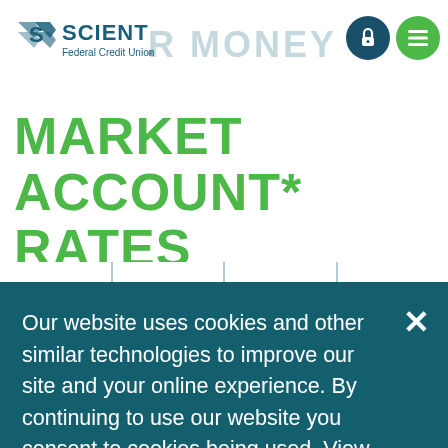SCIENT Federal Credit Union
MARKET ACCOUNT* RATES
Our website uses cookies and other similar technologies to improve our site and your online experience. By continuing to use our website you consent to cookies being used. View our Privacy Policy for more info.